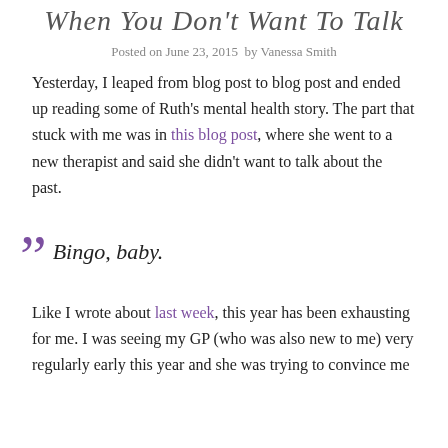When You Don't Want To Talk
Posted on June 23, 2015  by Vanessa Smith
Yesterday, I leaped from blog post to blog post and ended up reading some of Ruth's mental health story. The part that stuck with me was in this blog post, where she went to a new therapist and said she didn't want to talk about the past.
Bingo, baby.
Like I wrote about last week, this year has been exhausting for me. I was seeing my GP (who was also new to me) very regularly early this year and she was trying to convince me